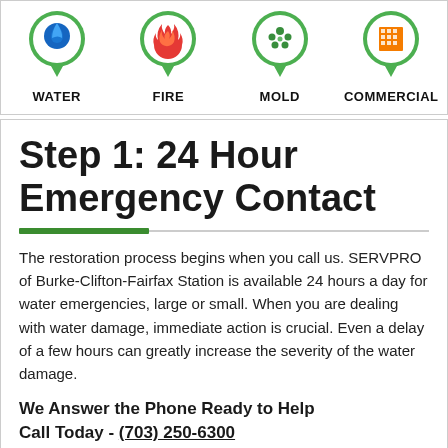[Figure (infographic): Four service category icons with labels: WATER (blue water drop icon), FIRE (red fire icon), MOLD (green mold icon), COMMERCIAL (orange building icon), each in a green map pin shape]
Step 1: 24 Hour Emergency Contact
The restoration process begins when you call us. SERVPRO of Burke-Clifton-Fairfax Station is available 24 hours a day for water emergencies, large or small. When you are dealing with water damage, immediate action is crucial. Even a delay of a few hours can greatly increase the severity of the water damage.
We Answer the Phone Ready to Help Call Today - (703) 250-6300
Water Restoration Process
Overview of Water Services
Water Process Overview